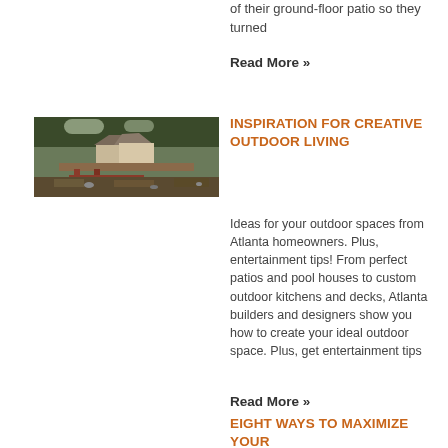of their ground-floor patio so they turned
Read More »
[Figure (photo): Aerial view of a house with extensive outdoor landscaping, red wooden walkways, garden beds, and surrounding trees.]
INSPIRATION FOR CREATIVE OUTDOOR LIVING
Ideas for your outdoor spaces from Atlanta homeowners. Plus, entertainment tips! From perfect patios and pool houses to custom outdoor kitchens and decks, Atlanta builders and designers show you how to create your ideal outdoor space. Plus, get entertainment tips
Read More »
EIGHT WAYS TO MAXIMIZE YOUR